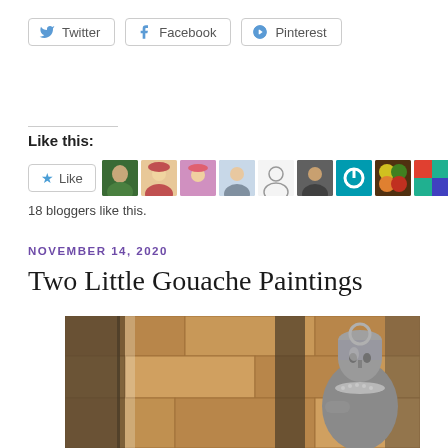[Figure (screenshot): Social share buttons: Twitter, Facebook, Pinterest with icons and rounded borders]
Like this:
[Figure (screenshot): Like button with star icon and a strip of 10 blogger avatar thumbnails]
18 bloggers like this.
NOVEMBER 14, 2020
Two Little Gouache Paintings
[Figure (photo): Gouache painting of an Egyptian-style statue seated in front of stone columns with warm ochre tones]